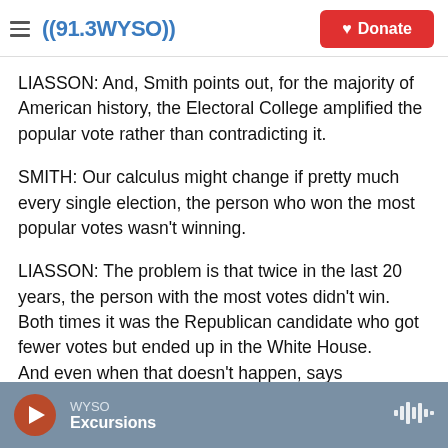((91.3 WYSO)) Donate
LIASSON: And, Smith points out, for the majority of American history, the Electoral College amplified the popular vote rather than contradicting it.
SMITH: Our calculus might change if pretty much every single election, the person who won the most popular votes wasn't winning.
LIASSON: The problem is that twice in the last 20 years, the person with the most votes didn't win. Both times it was the Republican candidate who got fewer votes but ended up in the White House. And even when that doesn't happen, says
WYSO Excursions